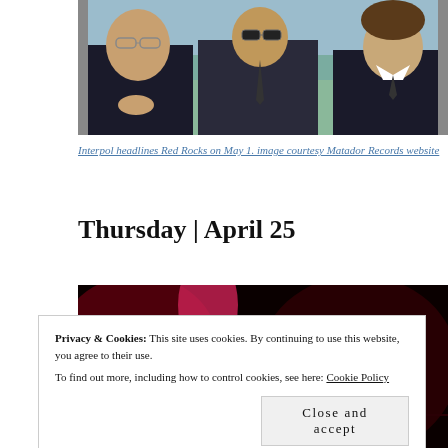[Figure (photo): Three men in suits and sunglasses sitting in a car, light teal/blue car interior, black and white tone with color, band photo for Interpol]
Interpol headlines Red Rocks on May 1. image courtesy Matador Records website
Thursday | April 25
[Figure (photo): Dark stage photo with red and pink lighting, musical performance scene]
Privacy & Cookies: This site uses cookies. By continuing to use this website, you agree to their use.
To find out more, including how to control cookies, see here: Cookie Policy